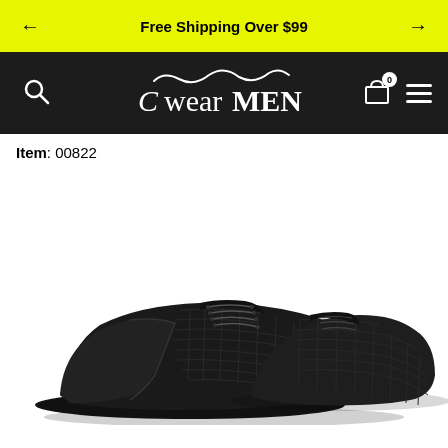← Free Shipping Over $99 →
[Figure (logo): CwearMEN brand logo with decorative wave above text on dark navigation bar, with search icon on left and cart/menu icons on right]
Item: 00822
[Figure (photo): Black alligator/crocodile embossed leather Oxford dress shoe, lace-up style, photographed at an angle showing the top and right side of the shoe]